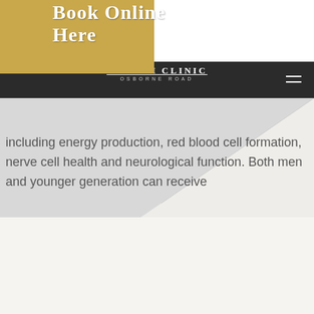Book Online Here
HEALTH CLINIC OSBORNE ROAD
including energy production, red blood cell formation, nerve cell health and neurological function. Both men and younger generation can receive
[Figure (screenshot): White folded page / card effect overlaid on grey background, creating a diagonal fold visual]